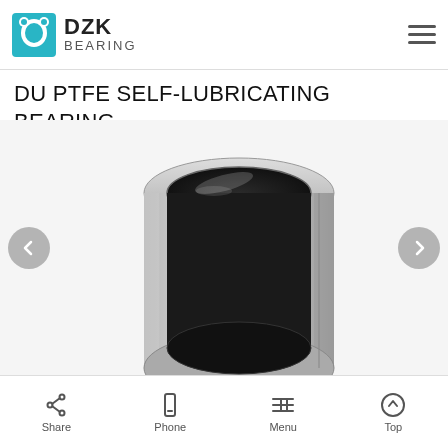DZK BEARING
DU PTFE SELF-LUBRICATING BEARING
[Figure (photo): A cylindrical DU PTFE self-lubricating bearing bushing made of steel with a dark PTFE-lined inner surface, shown from a 3/4 angle view on a white background. Navigation arrows visible on left and right sides.]
Share   Phone   Menu   Top